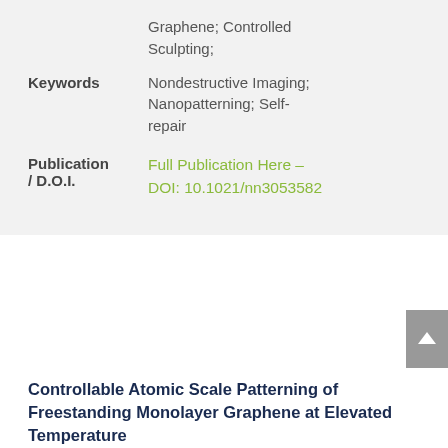Graphene; Controlled Sculpting;
Keywords: Nondestructive Imaging; Nanopatterning; Self-repair
Publication / D.O.I.: Full Publication Here – DOI: 10.1021/nn3053582
Controllable Atomic Scale Patterning of Freestanding Monolayer Graphene at Elevated Temperature
ABSTRACT: In order to harvest the many